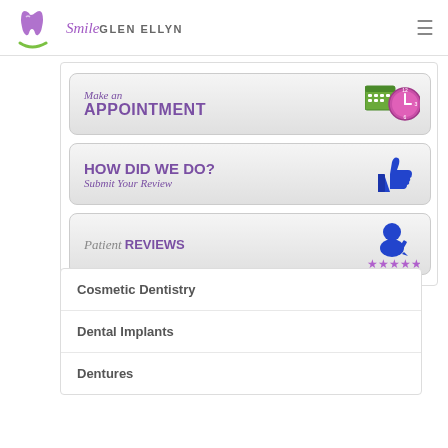Smile GLEN ELLYN
[Figure (screenshot): Make an APPOINTMENT button with calendar and clock icons]
[Figure (screenshot): HOW DID WE DO? Submit Your Review button with thumbs up icon]
[Figure (screenshot): Patient REVIEWS button with star ratings and person icon]
Cosmetic Dentistry
Dental Implants
Dentures